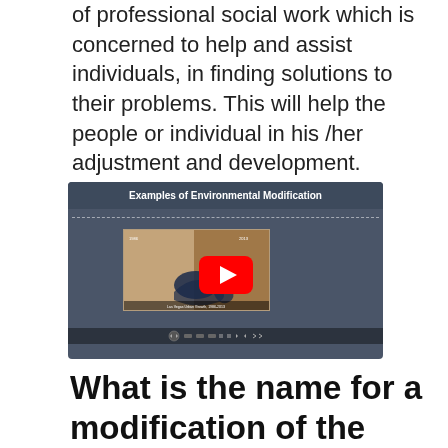of professional social work which is concerned to help and assist individuals, in finding solutions to their problems. This will help the people or individual in his /her adjustment and development.
[Figure (screenshot): YouTube video thumbnail for 'Examples of Environmental Modification' showing a satellite image of Las Vegas urban growth 1986-2013, with a red YouTube play button overlay and video controls at bottom.]
What is the name for a modification of the environment to better